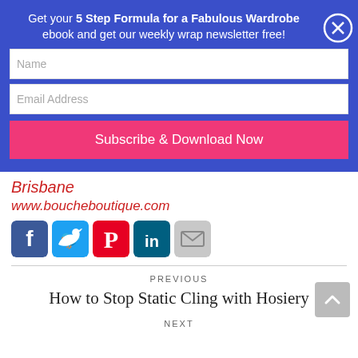Get your 5 Step Formula for a Fabulous Wardrobe ebook and get our weekly wrap newsletter free!
[Figure (screenshot): Email subscription form with Name field, Email Address field, and Subscribe & Download Now button on blue background with close X button]
Brisbane
www.boucheboutique.com
[Figure (infographic): Social media share icons: Facebook, Twitter, Pinterest, LinkedIn, Email]
PREVIOUS
How to Stop Static Cling with Hosiery
NEXT